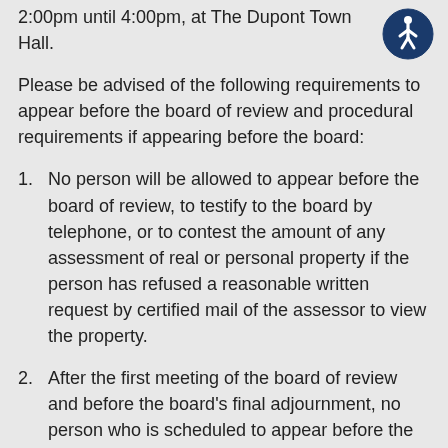2:00pm until 4:00pm, at The Dupont Town Hall.
[Figure (illustration): Accessibility icon: blue circle with white human figure symbol (wheelchair accessible person icon)]
Please be advised of the following requirements to appear before the board of review and procedural requirements if appearing before the board:
1.   No person will be allowed to appear before the board of review, to testify to the board by telephone, or to contest the amount of any assessment of real or personal property if the person has refused a reasonable written request by certified mail of the assessor to view the property.
2.   After the first meeting of the board of review and before the board's final adjournment, no person who is scheduled to appear before the board for any reason may change or add…